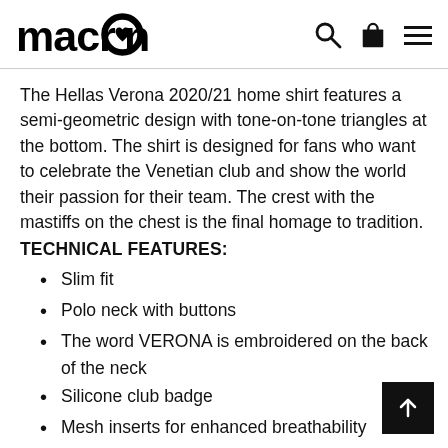macron [logo with icons: search, bag, menu]
The Hellas Verona 2020/21 home shirt features a semi-geometric design with tone-on-tone triangles at the bottom. The shirt is designed for fans who want to celebrate the Venetian club and show the world their passion for their team. The crest with the mastiffs on the chest is the final homage to tradition.
TECHNICAL FEATURES:
Slim fit
Polo neck with buttons
The word VERONA is embroidered on the back of the neck
Silicone club badge
Mesh inserts for enhanced breathability